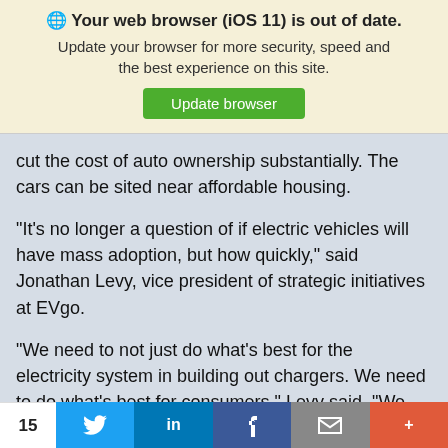[Figure (screenshot): Browser update notification banner with globe icon, bold title 'Your web browser (iOS 11) is out of date.', subtitle 'Update your browser for more security, speed and the best experience on this site.', and a green 'Update browser' button.]
cut the cost of auto ownership substantially. The cars can be sited near affordable housing.
“It’s no longer a question of if electric vehicles will have mass adoption, but how quickly,” said Jonathan Levy, vice president of strategic initiatives at EVgo.
“We need to not just do what’s best for the electricity system in building out chargers. We need to do what’s best for consumers,” Levy said. “We want to know what customers need.”
[Figure (screenshot): Social sharing toolbar with share count '15', Twitter, LinkedIn, Facebook, email, and more buttons.]